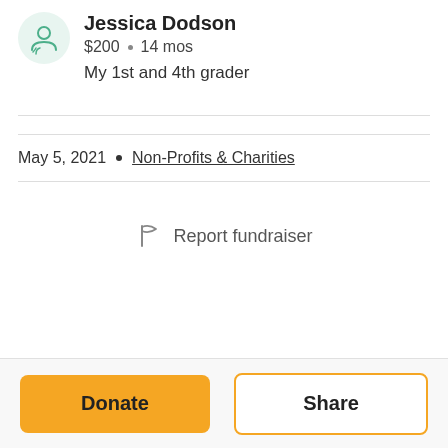Jessica Dodson
$200 • 14 mos
My 1st and 4th grader
May 5, 2021 • Non-Profits & Charities
Report fundraiser
Donate
Share